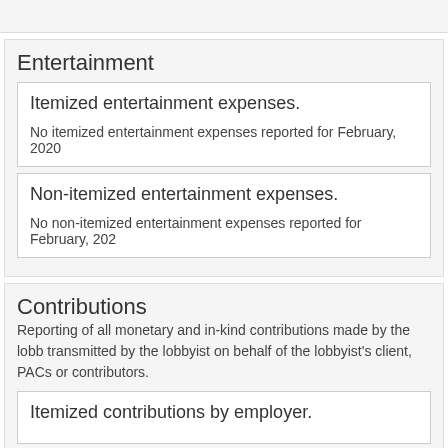Entertainment
Itemized entertainment expenses.
No itemized entertainment expenses reported for February, 2020
Non-itemized entertainment expenses.
No non-itemized entertainment expenses reported for February, 202
Contributions
Reporting of all monetary and in-kind contributions made by the lobbyist, transmitted by the lobbyist on behalf of the lobbyist's client, PACs or contributors.
Itemized contributions by employer.